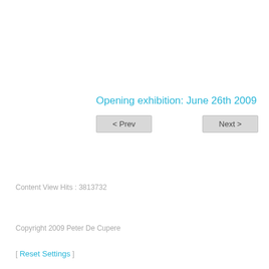Opening exhibition: June 26th 2009
< Prev    Next >
Content View Hits : 3813732
Copyright 2009 Peter De Cupere
[ Reset Settings ]